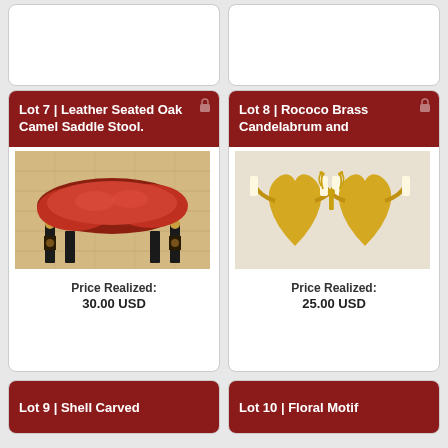[Figure (photo): Top partial card left - previous lot card, cut off at top]
[Figure (photo): Top partial card right - previous lot card, cut off at top]
Lot 7 | Leather Seated Oak Camel Saddle Stool.
[Figure (photo): Leather Seated Oak Camel Saddle Stool - red leather padded seat on black wooden frame]
Price Realized: 30.00 USD
Lot 8 | Rococo Brass Candelabrum and
[Figure (photo): Rococo Brass Candelabrum and wall sconces - ornate gold brass candelabra]
Price Realized: 25.00 USD
Lot 9 | Shell Carved
Lot 10 | Floral Motif